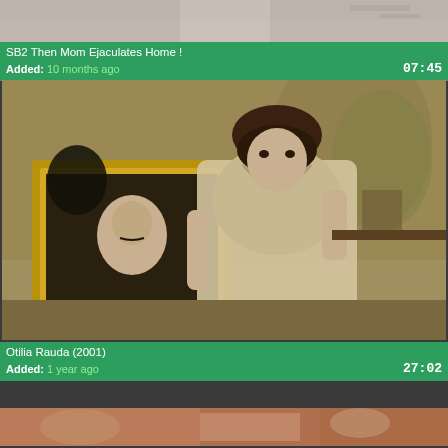[Figure (screenshot): Partial video thumbnail at top of page showing a light-colored scene]
SB2 Then Mom Ejaculates Home !
Added: 10 months ago
07:45
[Figure (screenshot): Video thumbnail showing a woman in a light dotted dress standing in a room with a framed portrait painting in the background]
Otilia Rauda (2001)
Added: 1 year ago
27:02
[Figure (screenshot): Partial video thumbnail at bottom of page showing a warm-toned scene]